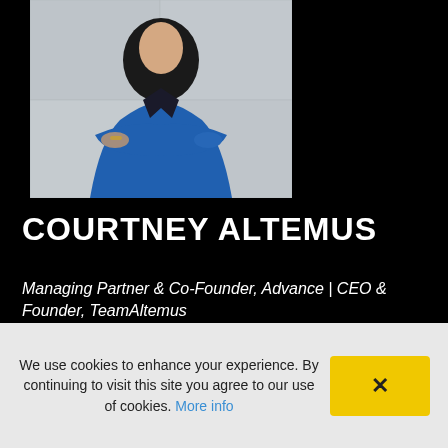[Figure (photo): Photo of Courtney Altemus wearing a blue blazer with arms crossed, against a light wall background]
COURTNEY ALTEMUS
Managing Partner & Co-Founder, Advance | CEO & Founder, TeamAltemus
Courtney is an unbiased consultant and educator to athletes. As a former Wall Street executive, she brings decades of expertise and experience in helping
We use cookies to enhance your experience. By continuing to visit this site you agree to our use of cookies. More info